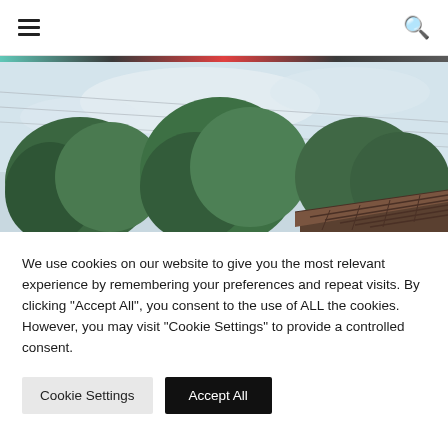☰  🔍
[Figure (photo): Outdoor photo showing trees and a rooftop against a light overcast sky with power lines visible]
We use cookies on our website to give you the most relevant experience by remembering your preferences and repeat visits. By clicking "Accept All", you consent to the use of ALL the cookies. However, you may visit "Cookie Settings" to provide a controlled consent.
Cookie Settings  |  Accept All